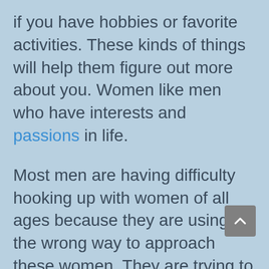if you have hobbies or favorite activities. These kinds of things will help them figure out more about you. Women like men who have interests and passions in life.
Most men are having difficulty hooking up with women of all ages because they are using the wrong way to approach these women. They are trying to use sites that promote dating exclusively for women. If you want to get into the best free hookup site, you should try adult dating. Many women are interested in meeting someone for casual dating, and you should not let this opportunity pass by.